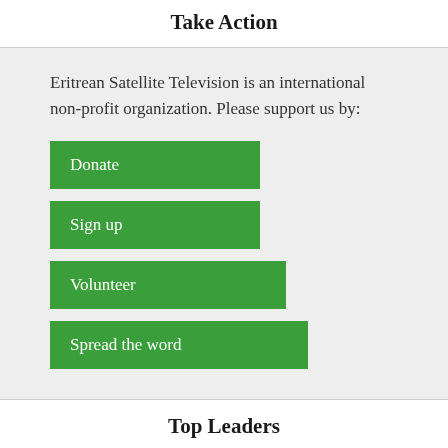Take Action
Eritrean Satellite Television is an international non-profit organization. Please support us by:
Donate
Sign up
Volunteer
Spread the word
Top Leaders